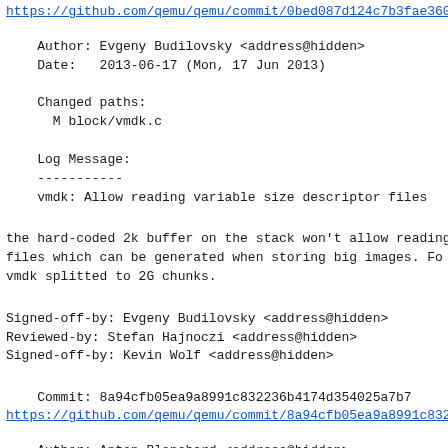https://github.com/qemu/qemu/commit/0bed087d124c7b3fae360...
Author: Evgeny Budilovsky <address@hidden>
    Date:   2013-06-17 (Mon, 17 Jun 2013)

    Changed paths:
      M block/vmdk.c

    Log Message:
    -----------
    vmdk: Allow reading variable size descriptor files
the hard-coded 2k buffer on the stack won't allow reading
files which can be generated when storing big images. Fo
vmdk splitted to 2G chunks.
Signed-off-by: Evgeny Budilovsky <address@hidden>
Reviewed-by: Stefan Hajnoczi <address@hidden>
Signed-off-by: Kevin Wolf <address@hidden>
Commit: 8a94cfb05ea9a8991c832236b4174d354025a7b7
https://github.com/qemu/qemu/commit/8a94cfb05ea9a8991c832...
Author: Anton Blanchard <address@hidden>
    Date:   2013-06-17 (Mon, 17 Jun 2013)

    Changed paths:
      M tcg/ppc64/tcg-target.c

    Log Message: